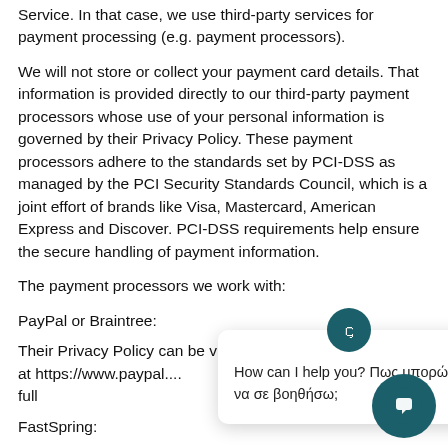Service. In that case, we use third-party services for payment processing (e.g. payment processors).
We will not store or collect your payment card details. That information is provided directly to our third-party payment processors whose use of your personal information is governed by their Privacy Policy. These payment processors adhere to the standards set by PCI-DSS as managed by the PCI Security Standards Council, which is a joint effort of brands like Visa, Mastercard, American Express and Discover. PCI-DSS requirements help ensure the secure handling of payment information.
The payment processors we work with:
PayPal or Braintree:
Their Privacy Policy can be viewed at https://www.paypal.... full
FastSpring:
Their Privacy Policy can be viewed at http://fastspring.com/privacy/